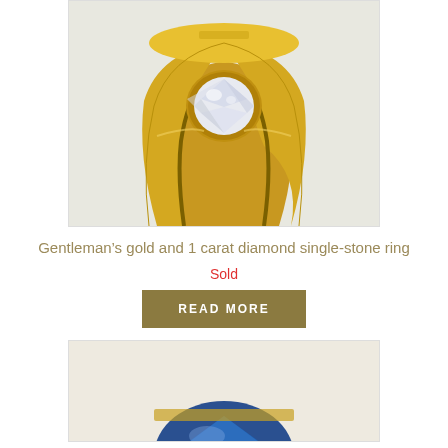[Figure (photo): A gentleman's gold ring with a single round diamond set in a gypsy/flush setting, yellow gold band, photographed against a light background.]
Gentleman’s gold and 1 carat diamond single-stone ring
Sold
READ MORE
[Figure (photo): Partial view of a blue gemstone (sapphire), faceted, photographed against a light background.]